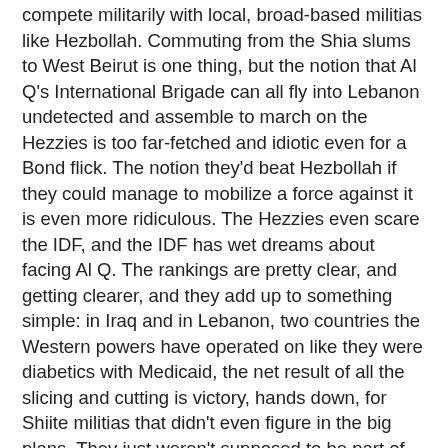compete militarily with local, broad-based militias like Hezbollah. Commuting from the Shia slums to West Beirut is one thing, but the notion that Al Q's International Brigade can all fly into Lebanon undetected and assemble to march on the Hezzies is too far-fetched and idiotic even for a Bond flick. The notion they'd beat Hezbollah if they could manage to mobilize a force against it is even more ridiculous. The Hezzies even scare the IDF, and the IDF has wet dreams about facing Al Q. The rankings are pretty clear, and getting clearer, and they add up to something simple: in Iraq and in Lebanon, two countries the Western powers have operated on like they were diabetics with Medicaid, the net result of all the slicing and cutting is victory, hands down, for Shiite militias that didn't even figure in the big plans. They just weren't supposed to be part of the equation, and now they're on top.
And that's assuming it's all being decided by Washington. Suppose we entertain, as they say, another idea: suppose it's true that the Lebanese Hezzies are just "puppets" of Iran the way Cheney keeps saying they are. Well, if that's true, then…lessee here: Cheney woofs on and on about attacking Iran and just coincidentally these Iranian puppets just